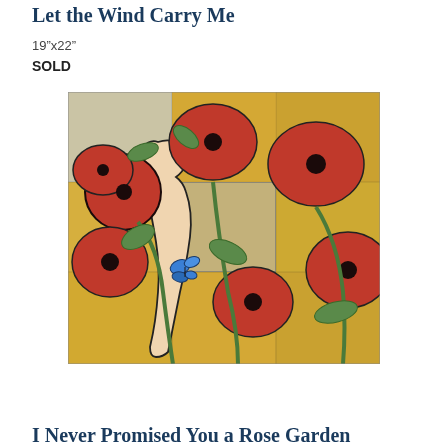Let the Wind Carry Me
19”x22”
SOLD
[Figure (photo): Stained glass artwork depicting a woman in profile surrounded by large red poppy flowers with green stems and leaves, a small blue butterfly resting on her chest, set against a golden yellow textured glass background arranged in rectangular panels.]
I Never Promised You a Rose Garden